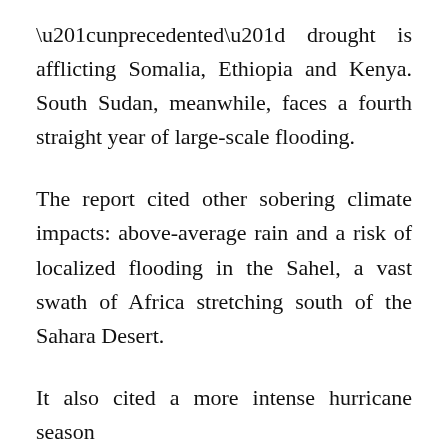“unprecedented” drought is afflicting Somalia, Ethiopia and Kenya. South Sudan, meanwhile, faces a fourth straight year of large-scale flooding.
The report cited other sobering climate impacts: above-average rain and a risk of localized flooding in the Sahel, a vast swath of Africa stretching south of the Sahara Desert.
It also cited a more intense hurricane season